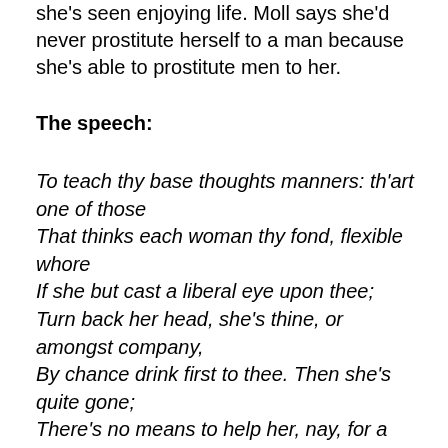she's seen enjoying life. Moll says she'd never prostitute herself to a man because she's able to prostitute men to her.
The speech:
To teach thy base thoughts manners: th'art one of those
That thinks each woman thy fond, flexible whore
If she but cast a liberal eye upon thee;
Turn back her head, she's thine, or amongst company,
By chance drink first to thee. Then she's quite gone;
There's no means to help her, nay, for a need,
Wilt swear unto thy credulous fellow lechers
That th'art more in favour with a lady